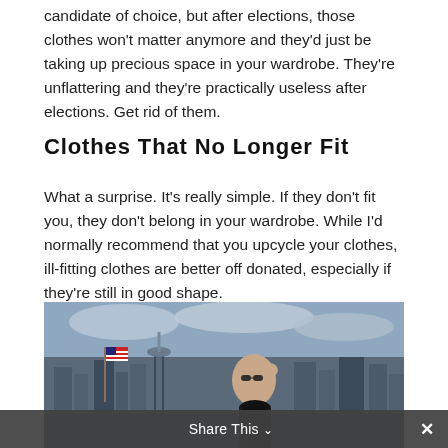candidate of choice, but after elections, those clothes won't matter anymore and they'd just be taking up precious space in your wardrobe. They're unflattering and they're practically useless after elections. Get rid of them.
Clothes That No Longer Fit
What a surprise. It's really simple. If they don't fit you, they don't belong in your wardrobe. While I'd normally recommend that you upcycle your clothes, ill-fitting clothes are better off donated, especially if they're still in good shape.
[Figure (photo): Person with sunglasses rubbing their head, standing in front of a city skyline with an American flag visible, under a cloudy sky.]
Share This ∨   ✕